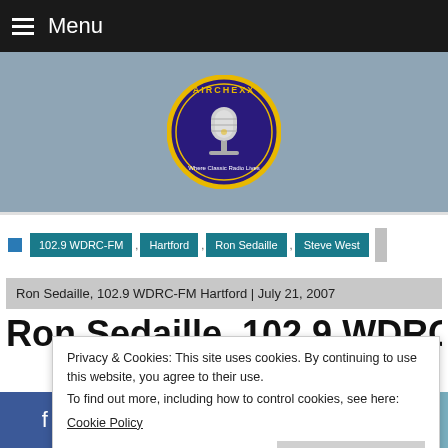Menu
[Figure (logo): Airchexx logo — circular badge with purple background, yellow border, microphone graphic, text 'AIRCHEXX' and 'Where Classic Radio Lives']
102.9 WDRC-FM , Hartford , Ron Sedaille , Steve West
Ron Sedaille, 102.9 WDRC-FM Hartford | July 21, 2007
Ron Sedaille, 102.9 WDRC-FM
Privacy & Cookies: This site uses cookies. By continuing to use this website, you agree to their use.
To find out more, including how to control cookies, see here:
Cookie Policy
7
f  t  p  in  mail